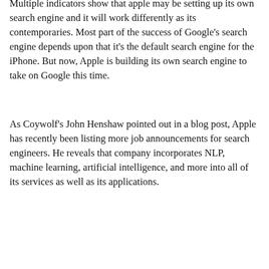Multiple indicators show that apple may be setting up its own search engine and it will work differently as its contemporaries. Most part of the success of Google's search engine depends upon that it's the default search engine for the iPhone. But now, Apple is building its own search engine to take on Google this time.
As Coywolf's John Henshaw pointed out in a blog post, Apple has recently been listing more job announcements for search engineers. He reveals that company incorporates NLP, machine learning, artificial intelligence, and more into all of its services as well as its applications.